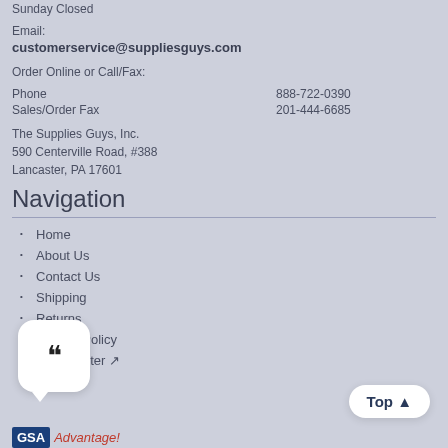Sunday Closed
Email:
customerservice@suppliesguys.com
Order Online or Call/Fax:
Phone  888-722-0390
Sales/Order Fax  201-444-6685
The Supplies Guys, Inc.
590 Centerville Road, #388
Lancaster, PA 17601
Navigation
Home
About Us
Contact Us
Shipping
Returns
Privacy Policy
Help Center
[Figure (logo): GSA Advantage logo with blue GSA box and red italic Advantage! text]